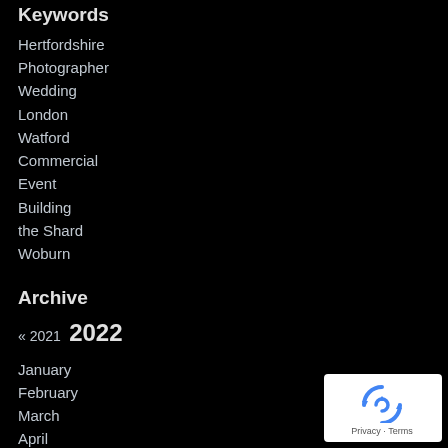Keywords
Hertfordshire
Photographer
Wedding
London
Watford
Commercial
Event
Building
the Shard
Woburn
Archive
« 2021  2022
January
February
March
April
May
June
July
[Figure (logo): Google reCAPTCHA badge with rotating arrows icon and Privacy/Terms text]